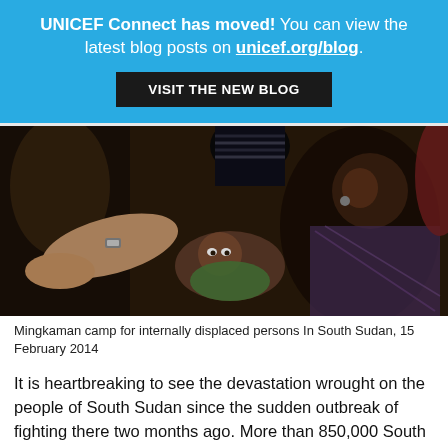UNICEF Connect has moved! You can view the latest blog posts on unicef.org/blog.
VISIT THE NEW BLOG
[Figure (photo): A healthcare worker attending to a young child lying on the ground while a woman watches, at Mingkaman camp for internally displaced persons in South Sudan.]
Mingkaman camp for internally displaced persons In South Sudan, 15 February 2014
It is heartbreaking to see the devastation wrought on the people of South Sudan since the sudden outbreak of fighting there two months ago. More than 850,000 South Sudanese have been forced to flee their homes; family members have been killed and injured, homes and livelihoods lost. More than 150,000 have left the